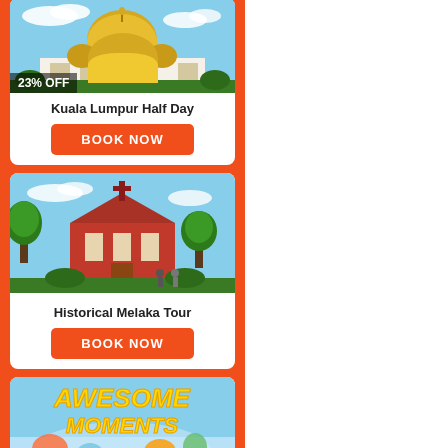[Figure (photo): Kuala Lumpur royal palace with golden dome and flags, blue sky background. Badge: 23% OFF]
Kuala Lumpur Half Day
BOOK NOW
[Figure (photo): Historical red Dutch church in Melaka with trees and blue sky. No discount badge.]
Historical Melaka Tour
BOOK NOW
[Figure (photo): Awesome Moments colorful promotional image with cartoon characters and 29% OFF badge]